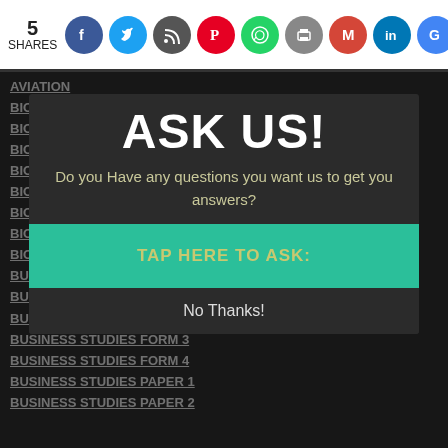5 SHARES — social share bar with Facebook, Twitter, Save, Pinterest, WhatsApp, Print, Gmail, LinkedIn, Google icons
AVIATION
BIOLOGY
BIOLOGY FORM 1
BIOLOGY FORM 2
BIOLOGY FORM 3
BIOLOGY FORM 4
BIOLOGY PAPER 1
BIOLOGY PAPER 2
BIOLOGY PAPER 3
BUSINESS FORM 1
BUSINESS STUDIES
BUSINESS STUDIES FORM 2
BUSINESS STUDIES FORM 3
BUSINESS STUDIES FORM 4
BUSINESS STUDIES PAPER 1
BUSINESS STUDIES PAPER 2
ASK US!
Do you Have any questions you want us to get you answers?
TAP HERE TO ASK:
No Thanks!